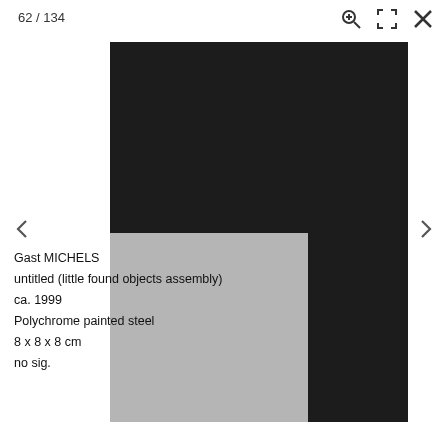62 / 134
[Figure (photo): Museum catalog viewer screenshot showing a dark artwork photograph (untitled little found objects assembly by Gast Michels, ca. 1999) with navigation controls and artwork metadata overlay]
Gast MICHELS
untitled (little found objects assembly)
ca. 1999
Polychrome painted steel
8 x 8 x 8 cm
no sig.